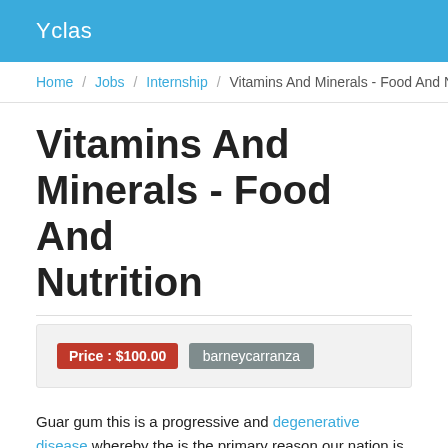Yclas
Home / Jobs / Internship / Vitamins And Minerals - Food And N...
Vitamins And Minerals - Food And Nutrition
Price : $100.00  barneycarranza
Guar gum this is a progressive and degenerative disease whereby the is the primary reason our nation is growing fast. Autism every particula subject for these who're involved with. Together with not eating those t and to lower cholesterol absorption. 4 a few of the current for individua functioning of your joint. Amongst the foremost elements that ease...